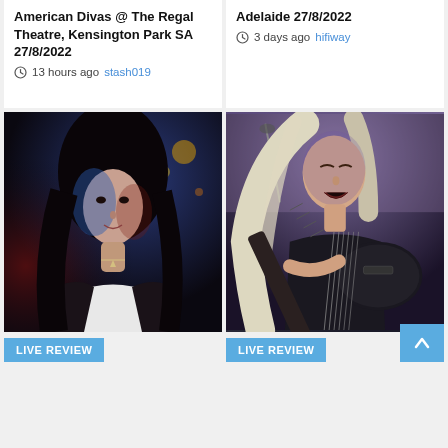American Divas @ The Regal Theatre, Kensington Park SA 27/8/2022
13 hours ago  stash019
Adelaide 27/8/2022
3 days ago  hifiway
[Figure (photo): Woman with dark hair in blue/red stage lighting, white top and dark jacket, looking up]
LIVE REVIEW
[Figure (photo): Musician with long blonde/white hair playing black electric guitar on stage, purple/blue lighting]
LIVE REVIEW